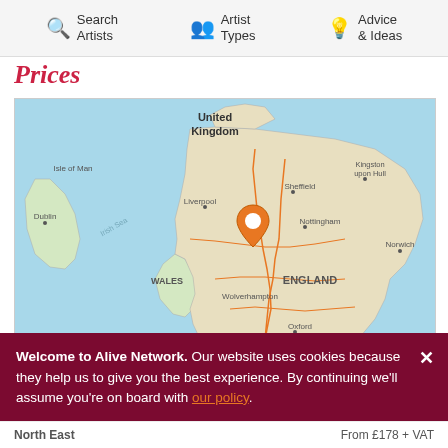Search Artists | Artist Types | Advice & Ideas
Prices
[Figure (map): Map of United Kingdom showing Ireland, Wales, England with a location pin at Wolverhampton/Staffordshire area. Cities labeled: Isle of Man, Dublin, Liverpool, Sheffield, Kingston upon Hull, Nottingham, Norwich, Wolverhampton, WALES, ENGLAND, Oxford, Cardiff, London. Map credits: mapbox, Mapbox, OpenStreetMap.]
Price from £178 + VAT + travel from 📍 Staffordshire
Based on 1 person performing up to 1 hours
Welcome to Alive Network. Our website uses cookies because they help us to give you the best experience. By continuing we'll assume you're on board with our policy.
North East | From £178 + VAT